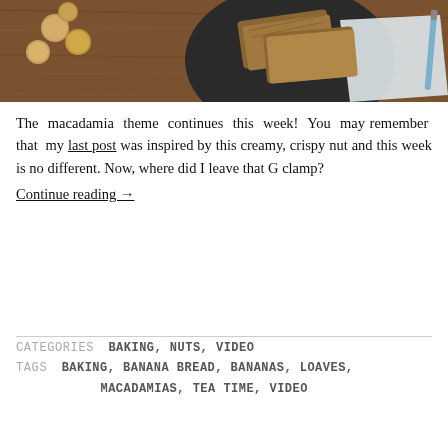[Figure (photo): Overhead photo of banana bread slices on a dark plate with macadamia nuts on a wooden surface, with a light napkin visible.]
The macadamia theme continues this week! You may remember that my last post was inspired by this creamy, crispy nut and this week is no different. Now, where did I leave that G clamp?
Continue reading →
CATEGORIES  BAKING, NUTS, VIDEO
TAGS  BAKING, BANANA BREAD, BANANAS, LOAVES, MACADAMIAS, TEA TIME, VIDEO